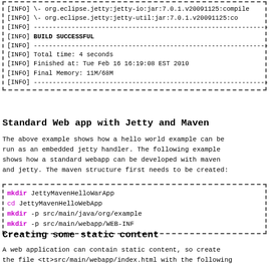[Figure (screenshot): Terminal/console output block showing Maven build INFO log lines including jetty dependencies, BUILD SUCCESSFUL, total time, finished at timestamp, and final memory.]
Standard Web app with Jetty and Maven
The above example shows how a hello world example can be run as an embedded jetty handler. The following example shows how a standard webapp can be developed with maven and jetty. The maven structure first needs to be created:
[Figure (screenshot): Code block showing shell commands: mkdir JettyMavenHelloWarApp, cd JettyMavenHelloWebApp, mkdir -p src/main/java/org/example, mkdir -p src/main/webapp/WEB-INF]
Creating some static content
A web application can contain static content, so create the file <tt>src/main/webapp/index.html with the following